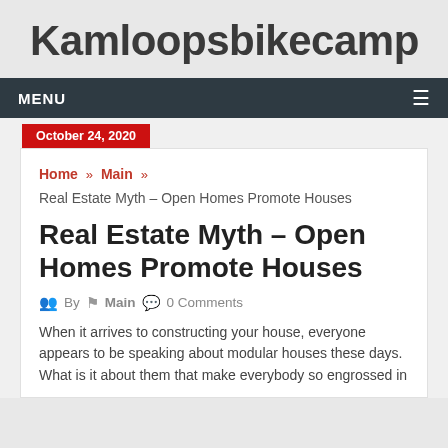Kamloopsbikecamp
MENU
October 24, 2020
Home » Main » Real Estate Myth – Open Homes Promote Houses
Real Estate Myth – Open Homes Promote Houses
By  Main  0 Comments
When it arrives to constructing your house, everyone appears to be speaking about modular houses these days. What is it about them that make everybody so engrossed in